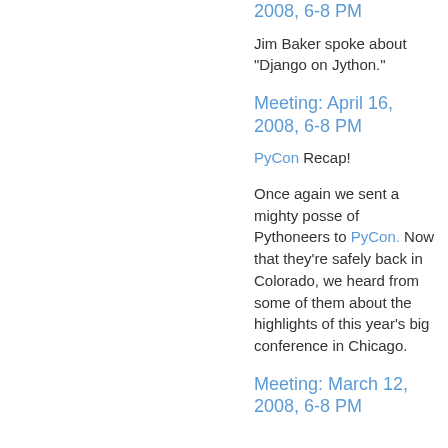2008, 6-8 PM
Jim Baker spoke about "Django on Jython."
Meeting: April 16, 2008, 6-8 PM
PyCon Recap!
Once again we sent a mighty posse of Pythoneers to PyCon. Now that they're safely back in Colorado, we heard from some of them about the highlights of this year's big conference in Chicago.
Meeting: March 12, 2008, 6-8 PM